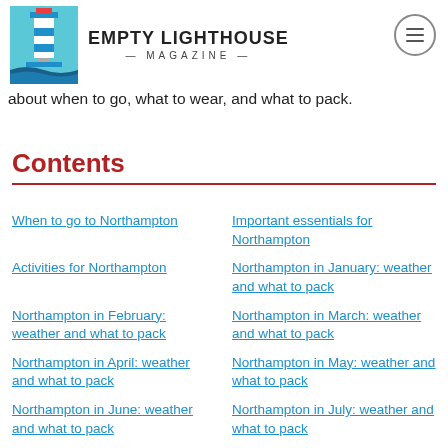Empty Lighthouse Magazine
about when to go, what to wear, and what to pack.
Contents
When to go to Northampton
Important essentials for Northampton
Activities for Northampton
Northampton in January: weather and what to pack
Northampton in February: weather and what to pack
Northampton in March: weather and what to pack
Northampton in April: weather and what to pack
Northampton in May: weather and what to pack
Northampton in June: weather and what to pack
Northampton in July: weather and what to pack
Northampton in August: weather and what to pack
Northampton in September: weather and what to pack